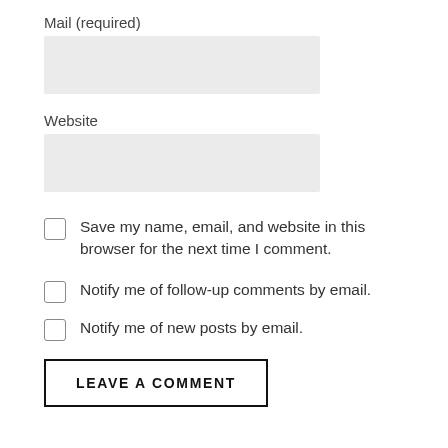Mail (required)
[Figure (other): Empty input field for Mail (required)]
Website
[Figure (other): Empty input field for Website]
Save my name, email, and website in this browser for the next time I comment.
Notify me of follow-up comments by email.
Notify me of new posts by email.
LEAVE A COMMENT